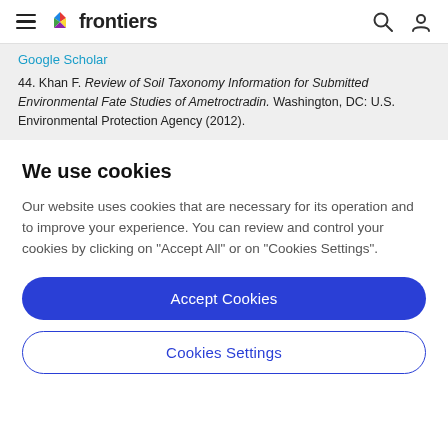frontiers
Google Scholar
44. Khan F. Review of Soil Taxonomy Information for Submitted Environmental Fate Studies of Ametroctradin. Washington, DC: U.S. Environmental Protection Agency (2012).
We use cookies
Our website uses cookies that are necessary for its operation and to improve your experience. You can review and control your cookies by clicking on "Accept All" or on "Cookies Settings".
Accept Cookies
Cookies Settings